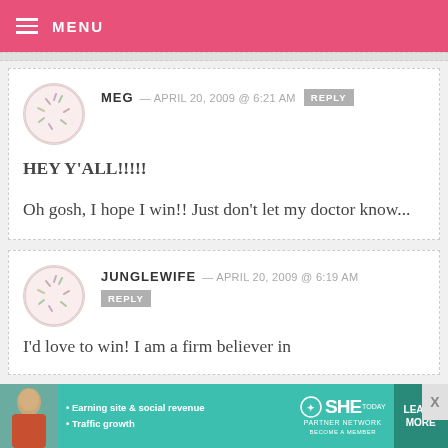MENU
MEG — APRIL 20, 2009 @ 6:21 AM
HEY Y'ALL!!!!!
Oh gosh, I hope I win!! Just don't let my doctor know...
JUNGLEWIFE — APRIL 20, 2009 @ 6:19 AM
I'd love to win! I am a firm believer in
[Figure (infographic): SHE Partner Network advertisement banner with woman photo, bullets: Earning site & social revenue, Traffic growth; LEARN MORE button]